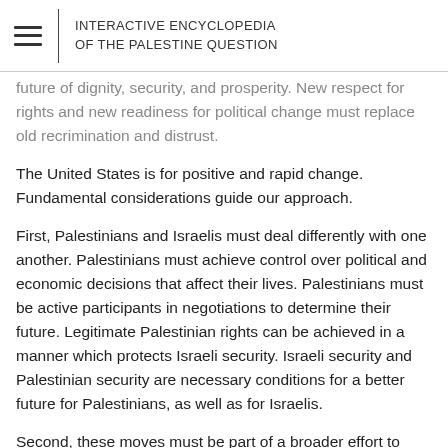INTERACTIVE ENCYCLOPEDIA OF THE PALESTINE QUESTION
future of dignity, security, and prosperity. New respect for rights and new readiness for political change must replace old recrimination and distrust.
The United States is for positive and rapid change. Fundamental considerations guide our approach.
First, Palestinians and Israelis must deal differently with one another. Palestinians must achieve control over political and economic decisions that affect their lives. Palestinians must be active participants in negotiations to determine their future. Legitimate Palestinian rights can be achieved in a manner which protects Israeli security. Israeli security and Palestinian security are necessary conditions for a better future for Palestinians, as well as for Israelis.
Second, these moves must be part of a broader effort to